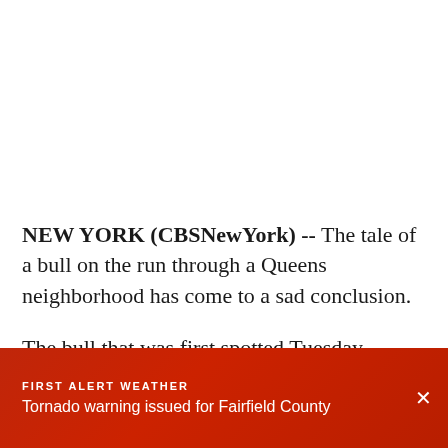NEW YORK (CBSNewYork) -- The tale of a bull on the run through a Queens neighborhood has come to a sad conclusion.
The bull that was first spotted Tuesday morning on Lakewood Avenue near Sutphin and Archer in
FIRST ALERT WEATHER
Tornado warning issued for Fairfield County